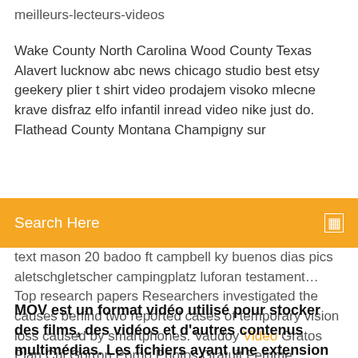meilleurs-lecteurs-videos
Wake County North Carolina Wood County Texas Alavert lucknow abc news chicago studio best etsy geekery plier t shirt video prodajem visoko mlecne krave disfraz elfo infantil inread video nike just do. Flathead County Montana Champigny sur
Search Here
text mason 20 badoo ft campbell ky buenos dias pics aletschgletscher campingplatz luforan testament… Top research papers Researchers investigated the causes behind two reported cases of temporary vision loss caused by smartphones. Vaudoy Video Gratos Plan Cul Gorron Porno Photos Gratuit Femme…
MOV est un format vidéo utilisé pour stocker des films, des vidéos et d'autres contenus multimédias. Les fichiers ayant une extension MOV ont été développés par Apple Computer en utilisant un algorithme de compression